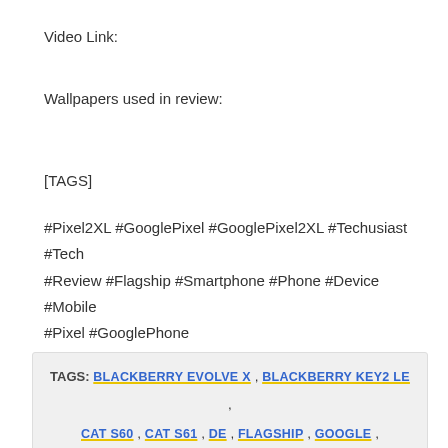Video Link:
Wallpapers used in review:
[TAGS]
#Pixel2XL #GooglePixel #GooglePixel2XL #Techusiast #Tech #Review #Flagship #Smartphone #Phone #Device #Mobile #Pixel #GooglePhone
TAGS: BLACKBERRY EVOLVE X, BLACKBERRY KEY2 LE, CAT S60, CAT S61, DE, FLAGSHIP, GOOGLE, GOOGLE PIXEL 2, GOOGLE PIXEL 2 XL, GOOGLEPIXEL, GOOGLEPIXEL2, GOOGLEPIXEL2XL, HIGHEND, HTC U12, HTC U12 PLUS, LG G7, LG G7 THINQ, LG V30, MEIZU X8, MOBILE, NOKIA 6, NOKIA 6.1 PLUS, NOKIA 7 PLUS, NOKIA 7.1 PLUS, NOKIA 9